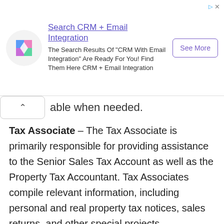[Figure (screenshot): Advertisement banner for CRM + Email Integration search service, with logo, headline, body text, and See More button.]
able when needed.
Tax Associate – The Tax Associate is primarily responsible for providing assistance to the Senior Sales Tax Account as well as the Property Tax Accountant. Tax Associates compile relevant information, including personal and real property tax notices, sales returns, and other special projects.
Managing Partner – A Managing Partner (MP) oversees daily operations and is responsible for all decisions made inside their designated restaurant. The MP ensures that all employees comply with company rules and regulations and that food